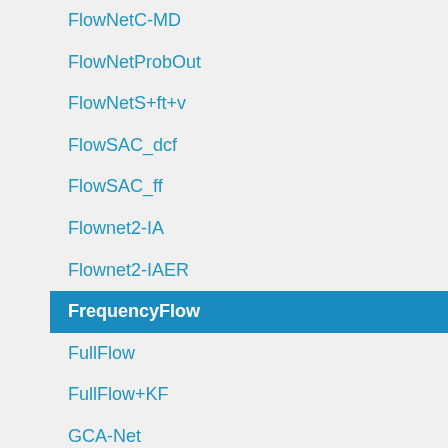FlowNetC-MD
FlowNetProbOut
FlowNetS+ft+v
FlowSAC_dcf
FlowSAC_ff
Flownet2-IA
Flownet2-IAER
FrequencyFlow
FullFlow
FullFlow+KF
GCA-Net
GCA-Net-ft+
GMA
GMA+LCT-Flow
GMA-FS
GMA-base
GMFlow
GMFlow+
GMFlowNet